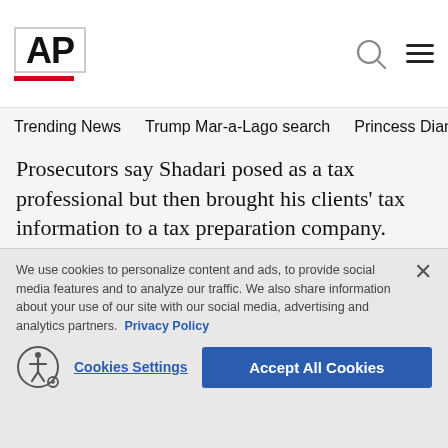AP
Trending News   Trump Mar-a-Lago search   Princess Diana's dea
Prosecutors say Shadari posed as a tax professional but then brought his clients' tax information to a tax preparation company.
They say he added false information about the customers' dependents, childcare expenses and business income to inflate their tax refunds. Shadari then took a
We use cookies to personalize content and ads, to provide social media features and to analyze our traffic. We also share information about your use of our site with our social media, advertising and analytics partners. Privacy Policy
Cookies Settings   Accept All Cookies